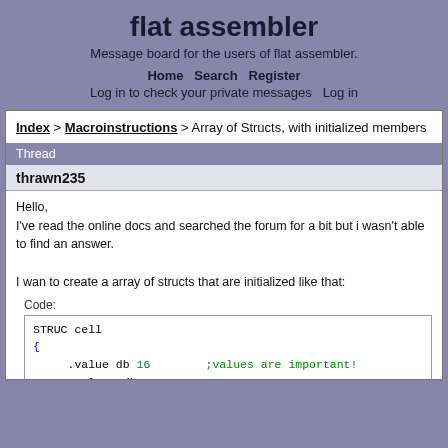flat assembler
Message board for the users of flat assembler.
Home  Search  Register  Log in to check your private messages  Log in
Index > Macroinstructions > Array of Structs, with initialized members
Thread
thrawn235
Hello,
I've read the online docs and searched the forum for a bit but i wasn't able to find an answer.

I wan to create a array of structs that are initialized like that:
Code:
[Figure (screenshot): Code block showing assembly STRUC cell definition with .value db 16 (;values are important!), .value2 db 25, closing brace, SEGMENT memory, cells dup 20 (cell)]